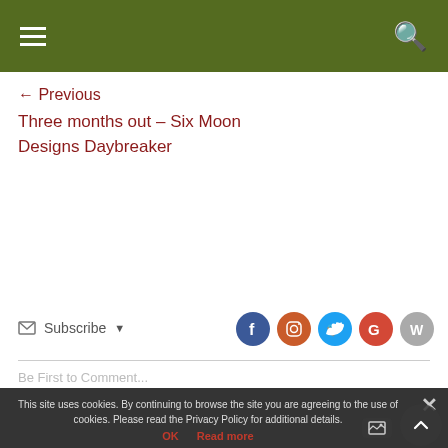Navigation header with hamburger menu and search icon
← Previous
Three months out – Six Moon Designs Daybreaker
Subscribe
[Figure (infographic): Social media icons: Facebook (blue), Instagram (orange), Twitter (blue), Google (red), WordPress (gray)]
Be First to Comment...
This site uses cookies. By continuing to browse the site you are agreeing to the use of cookies. Please read the Privacy Policy for additional details.
OK  Read more